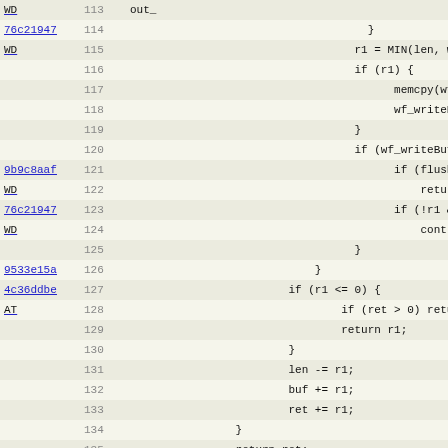[Figure (screenshot): Source code diff/blame view showing C code lines 113-144. Left columns show commit hash (as hyperlinks) and author tag (WD, AT), followed by line numbers and code content. Code shows a write buffer function and a map_file function declaration.]